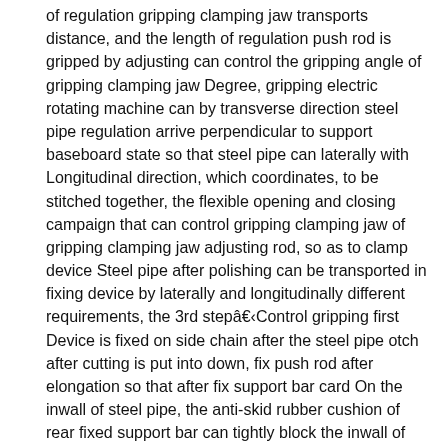of regulation gripping clamping jaw transports distance, and the length of regulation push rod is gripped by adjusting can control the gripping angle of gripping clamping jaw Degree, gripping electric rotating machine can by transverse direction steel pipe regulation arrive perpendicular to support baseboard state so that steel pipe can laterally with Longitudinal direction, which coordinates, to be stitched together, the flexible opening and closing campaign that can control gripping clamping jaw of gripping clamping jaw adjusting rod, so as to clamp device Steel pipe after polishing can be transported in fixing device by laterally and longitudinally different requirements, the 3rd stepâ€‹Control gripping first Device is fixed on side chain after the steel pipe otch after cutting is put into down, fix push rod after elongation so that after fix support bar card On the inwall of steel pipe, the anti-skid rubber cushion of rear fixed support bar can tightly block the inwall of steel pipe, and stable consolidates steel pipe It is fixed firmly, after elongation to correct push push rod so that correction slide bar and the afterwards forward movement of correction push rod afterwards, push rod is corrected after elongation, after Rectification plate can carry out the correction of position to steel pipe, and